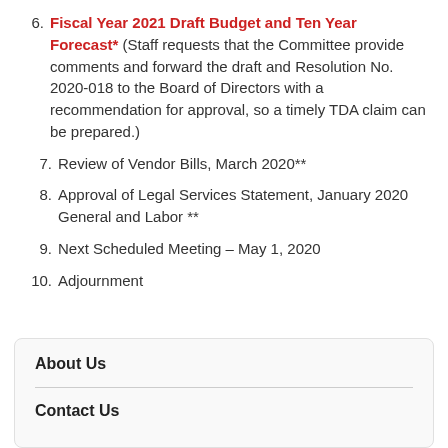6. Fiscal Year 2021 Draft Budget and Ten Year Forecast* (Staff requests that the Committee provide comments and forward the draft and Resolution No. 2020-018 to the Board of Directors with a recommendation for approval, so a timely TDA claim can be prepared.)
7. Review of Vendor Bills, March 2020**
8. Approval of Legal Services Statement, January 2020 General and Labor **
9. Next Scheduled Meeting – May 1, 2020
10. Adjournment
About Us
Contact Us